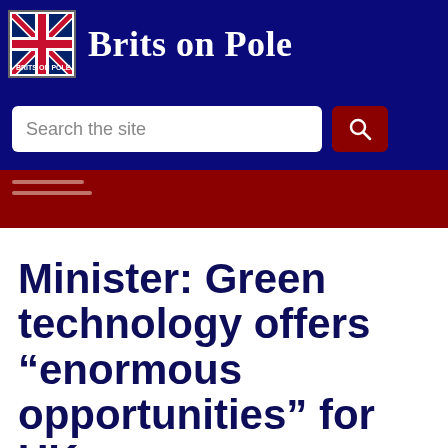Brits on Pole
Search the site
[Figure (screenshot): Navigation menu bar with dark red background and two horizontal lines]
Minister: Green technology offers “enormous opportunities” for UK